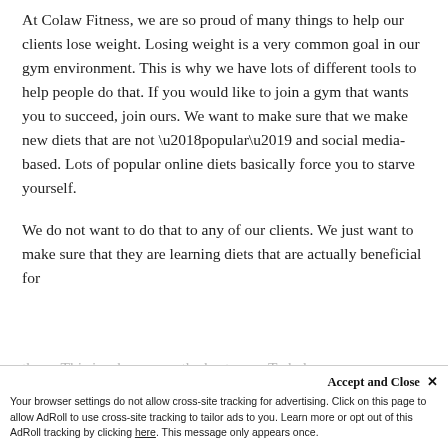At Colaw Fitness, we are so proud of many things to help our clients lose weight. Losing weight is a very common goal in our gym environment. This is why we have lots of different tools to help people do that. If you would like to join a gym that wants you to succeed, join ours. We want to make sure that we make new diets that are not ‘popular’ and social media-based. Lots of popular online diets basically force you to starve yourself.
We do not want to do that to any of our clients. We just want to make sure that they are learning diets that are actually beneficial for them. This is why we are the best gym. To help...
Accept and Close ×
Your browser settings do not allow cross-site tracking for advertising. Click on this page to allow AdRoll to use cross-site tracking to tailor ads to you. Learn more or opt out of this AdRoll tracking by clicking here. This message only appears once.